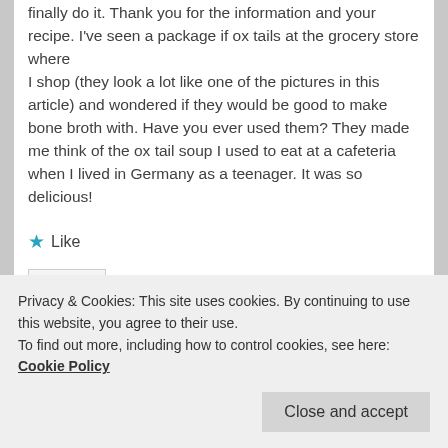finally do it. Thank you for the information and your recipe. I've seen a package if ox tails at the grocery store where
I shop (they look a lot like one of the pictures in this article) and wondered if they would be good to make bone broth with. Have you ever used them? They made me think of the ox tail soup I used to eat at a cafeteria when I lived in Germany as a teenager. It was so delicious!
★ Like
Reply ↓
Privacy & Cookies: This site uses cookies. By continuing to use this website, you agree to their use.
To find out more, including how to control cookies, see here: Cookie Policy
Close and accept
tract infection for years, nothing would get